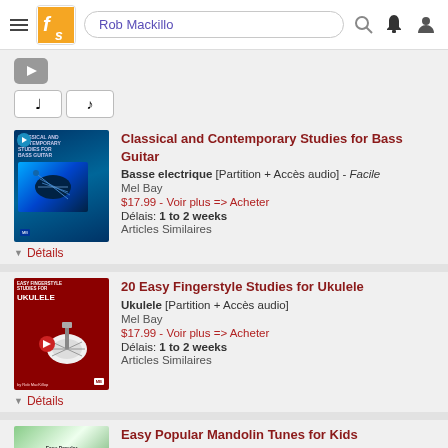Rob Mackillo
[Figure (screenshot): Video play button (dark grey rectangle with white play triangle)]
[Figure (other): Two music note buttons]
[Figure (photo): Book cover: Classical and Contemporary Studies for Bass Guitar]
Classical and Contemporary Studies for Bass Guitar
Basse electrique [Partition + Accès audio] - Facile
Mel Bay
$17.99 - Voir plus => Acheter
Délais: 1 to 2 weeks
Articles Similaires
Détails
[Figure (photo): Book cover: 20 Easy Fingerstyle Studies for Ukulele]
20 Easy Fingerstyle Studies for Ukulele
Ukulele [Partition + Accès audio]
Mel Bay
$17.99 - Voir plus => Acheter
Délais: 1 to 2 weeks
Articles Similaires
Détails
[Figure (photo): Book cover: Easy Popular Mandolin Tunes for Kids (partially visible)]
Easy Popular Mandolin Tunes for Kids